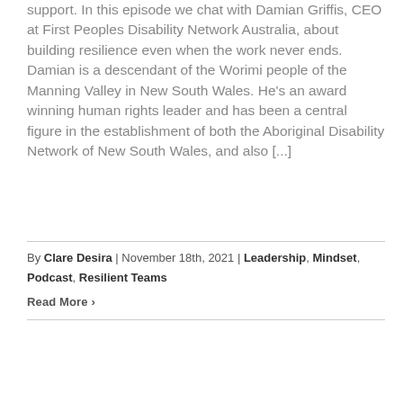support. In this episode we chat with Damian Griffis, CEO at First Peoples Disability Network Australia, about building resilience even when the work never ends. Damian is a descendant of the Worimi people of the Manning Valley in New South Wales. He's an award winning human rights leader and has been a central figure in the establishment of both the Aboriginal Disability Network of New South Wales, and also [...]
By Clare Desira | November 18th, 2021 | Leadership, Mindset, Podcast, Resilient Teams
Read More ›